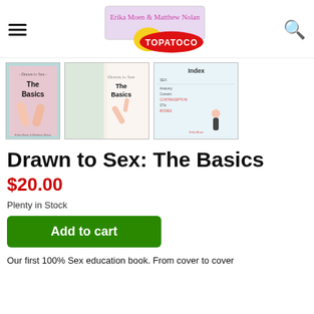Topatoco store header with hamburger menu, logo, and search icon
[Figure (photo): Three thumbnail images of the book 'Drawn to Sex: The Basics' — book cover, interior pages showing hand illustrations, and index page]
Drawn to Sex: The Basics
$20.00
Plenty in Stock
Add to cart
Our first 100% Sex education book. From cover to cover